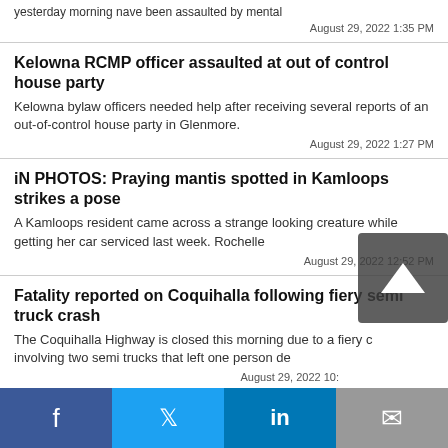yesterday morning nave been assaulted by mental
August 29, 2022 1:35 PM
Kelowna RCMP officer assaulted at out of control house party
Kelowna bylaw officers needed help after receiving several reports of an out-of-control house party in Glenmore.
August 29, 2022 1:27 PM
iN PHOTOS: Praying mantis spotted in Kamloops strikes a pose
A Kamloops resident came across a strange looking creature while getting her car serviced last week. Rochelle
August 29, 2022 12:52 PM
Fatality reported on Coquihalla following fiery semi truck crash
The Coquihalla Highway is closed this morning due to a fiery crash involving two semi trucks that left one person de
August 29, 2022 10:
[Figure (screenshot): Partial image strip at bottom of content area showing a blue-themed photo]
f  twitter  in  email — social sharing bar